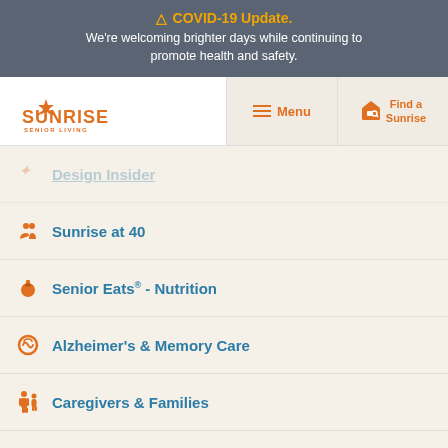⚠ COVID-19 Update. We're welcoming brighter days while continuing to promote health and safety.
[Figure (logo): Sunrise Senior Living logo with orange sun graphic and text]
Design Insider
Sunrise at 40
Senior Eats® - Nutrition
Alzheimer's & Memory Care
Caregivers & Families
Health, Fitness & Wellness
Finance & Planning